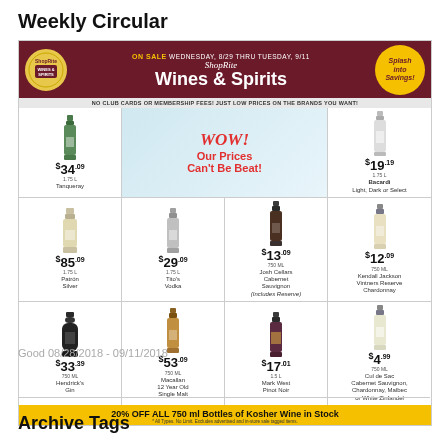Weekly Circular
[Figure (infographic): ShopRite Wines & Spirits weekly circular ad. On Sale Wednesday 8/29 thru Tuesday 9/11. Features: Tanqueray 1.75L $34.09, WOW Our Prices Can't Be Beat!, Bacardi 1.75L $19.19 Light Dark or Select, Patron Silver 1.75L $85.09, Tito's Vodka 1.75L $29.09, Josh Cellars Cabernet Sauvignon 750ML $13.09 (Includes Reserve), Kendall Jackson Vintners Reserve Chardonnay 750ML $12.09, Hendrick's Gin 750ML $33.39, Macallan 12 Year Old Single Malt 750ML $53.09, Mark West Pinot Noir 1.5L $17.01, Cul de Sac 750ML $4.99 Cabernet Sauvignon Chardonnay Malbec or White Zinfandel. 20% OFF ALL 750ml Bottles of Kosher Wine in Stock. *All Types. No Limit. Excludes advertised and in-store sale tagged items.]
Good 08/28/2018 - 09/11/2018
Archive Tags